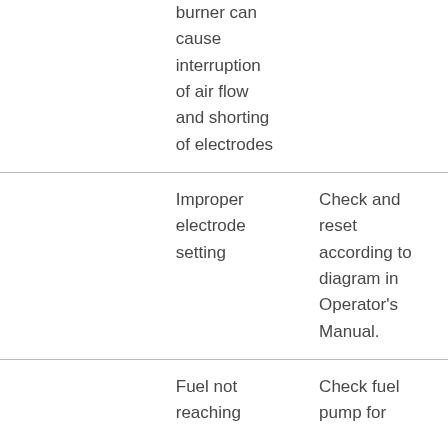|  | burner can cause interruption of air flow and shorting of electrodes |  |
|  | Improper electrode setting | Check and reset according to diagram in Operator's Manual. |
|  | Fuel not reaching | Check fuel pump for |